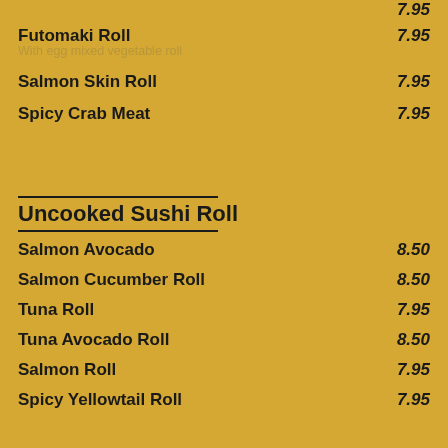Futomaki Roll  7.95
With egg mixed vegetable roll
Salmon Skin Roll  7.95
Spicy Crab Meat  7.95
Uncooked Sushi Roll
Salmon Avocado  8.50
Salmon Cucumber Roll  8.50
Tuna Roll  7.95
Tuna Avocado Roll  8.50
Salmon Roll  7.95
Spicy Yellowtail Roll  7.95